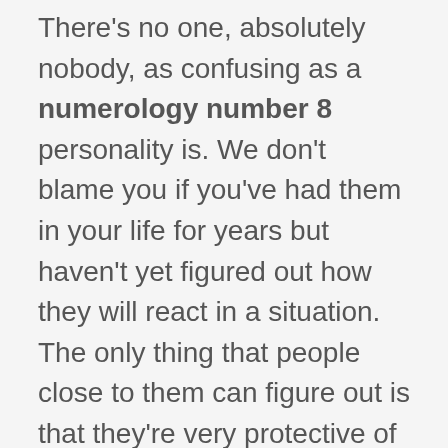There's no one, absolutely nobody, as confusing as a numerology number 8 personality is. We don't blame you if you've had them in your life for years but haven't yet figured out how they will react in a situation. The only thing that people close to them can figure out is that they're very protective of the people they love. But, more often than not, this is not enough. There's a natural inclination towards figuring out a personality as mysterious as number 8s in numerology.
So, ready to explore what's going on inside their heads when they're unusually calm or overly agitated? Hold